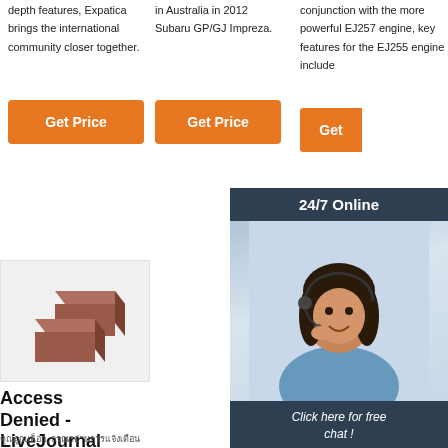depth features, Expatica brings the international community closer together.
[Figure (other): Orange 'Get Price' button]
in Australia in 2012 Subaru GP/GJ Impreza.
[Figure (other): Orange 'Get Price' button]
conjunction with the more powerful EJ257 engine, key features for the EJ255 engine include
[Figure (other): Orange 'Get' button (partially visible)]
[Figure (other): 24/7 Online chat ad panel with woman wearing headset, 'Click here for free chat!' text and orange QUOTATION button]
[Figure (photo): Two brown rectangular brick-like soap bars on white/light gray background]
Access Denied - LiveJournal
คุณถูกบล็อก, กรุณาอ่านการแจ้งเตือน
[Figure (logo): TOP button with orange dots above forming an arch and orange 'TOP' text]